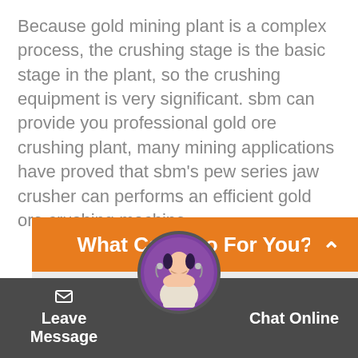Because gold mining plant is a complex process, the crushing stage is the basic stage in the plant, so the crushing equipment is very significant. sbm can provide you professional gold ore crushing plant, many mining applications have proved that sbm's pew series jaw crusher can performs an efficient gold ore crushing machine.
What Can I Do For You?
[Figure (screenshot): A web form input field with a product icon and placeholder text 'Productname*']
[Figure (photo): Customer service avatar - woman with headset in purple circle]
Leave Message
Chat Online